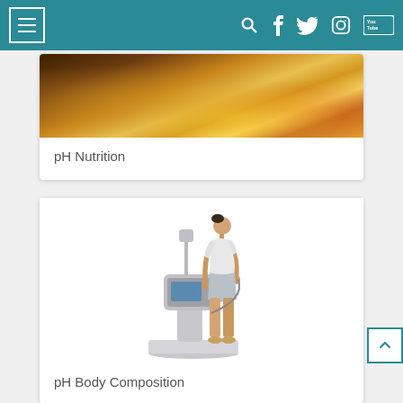[Figure (screenshot): Website navigation bar with teal background, hamburger menu icon on left, and social media icons (search, Facebook, Twitter, Instagram, YouTube) on right]
[Figure (photo): Partially visible card showing food items including wooden bowls and fruit on a dark surface - pH Nutrition card]
pH Nutrition
[Figure (photo): Card showing a person standing on a body composition analysis scale/machine - pH Body Composition card]
pH Body Composition